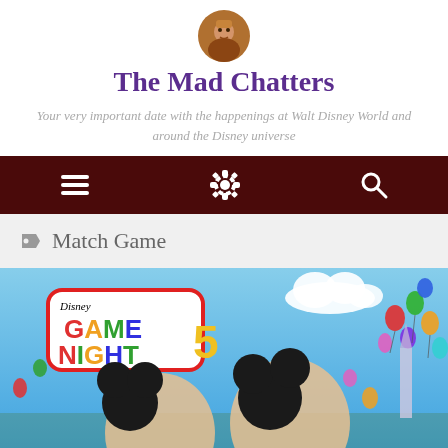[Figure (illustration): Circular avatar/profile image at top of blog header]
The Mad Chatters
Your very important date with the happenings at Walt Disney World and around the Disney universe
[Figure (infographic): Dark maroon navigation bar with hamburger menu icon, settings/gear icon, and search magnifying glass icon]
Match Game
[Figure (photo): Disney Game Night 5 promotional image showing Minnie Mouse and Mickey Mouse in colorful celebration outfits with balloons and castle in background, Disney Game Night 5 logo in foreground]